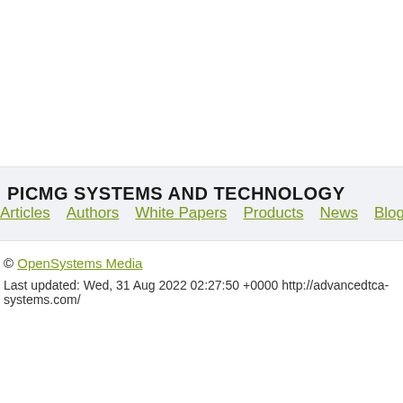PICMG SYSTEMS AND TECHNOLOGY
Articles   Authors   White Papers   Products   News   Blog
© OpenSystems Media
Last updated: Wed, 31 Aug 2022 02:27:50 +0000 http://advancedtca-systems.com/